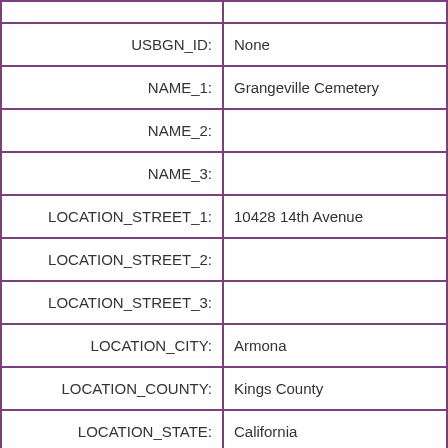| Field | Value |
| --- | --- |
|  |  |
| USBGN_ID: | None |
| NAME_1: | Grangeville Cemetery |
| NAME_2: |  |
| NAME_3: |  |
| LOCATION_STREET_1: | 10428 14th Avenue |
| LOCATION_STREET_2: |  |
| LOCATION_STREET_3: |  |
| LOCATION_CITY: | Armona |
| LOCATION_COUNTY: | Kings County |
| LOCATION_STATE: | California |
|  |  |